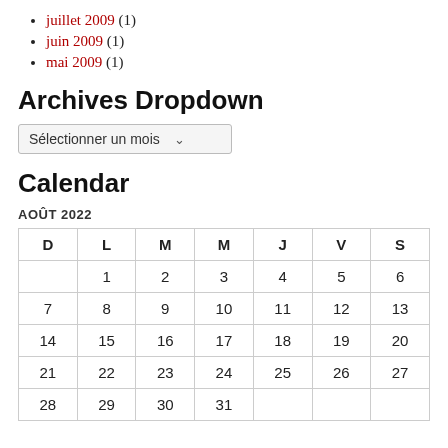juillet 2009 (1)
juin 2009 (1)
mai 2009 (1)
Archives Dropdown
Sélectionner un mois
Calendar
AOÛT 2022
| D | L | M | M | J | V | S |
| --- | --- | --- | --- | --- | --- | --- |
|  | 1 | 2 | 3 | 4 | 5 | 6 |
| 7 | 8 | 9 | 10 | 11 | 12 | 13 |
| 14 | 15 | 16 | 17 | 18 | 19 | 20 |
| 21 | 22 | 23 | 24 | 25 | 26 | 27 |
| 28 | 29 | 30 | 31 |  |  |  |